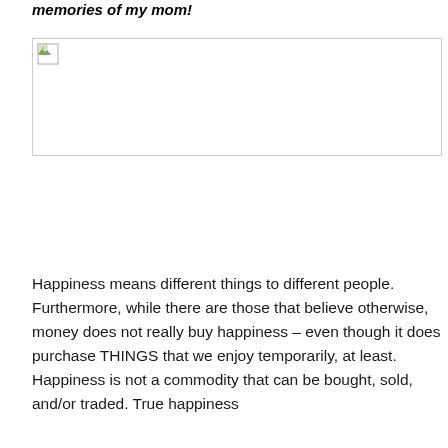memories of my mom!
[Figure (photo): Broken/missing image placeholder with small icon in top-left corner]
Happiness means different things to different people. Furthermore, while there are those that believe otherwise, money does not really buy happiness – even though it does purchase THINGS that we enjoy temporarily, at least. Happiness is not a commodity that can be bought, sold, and/or traded. True happiness